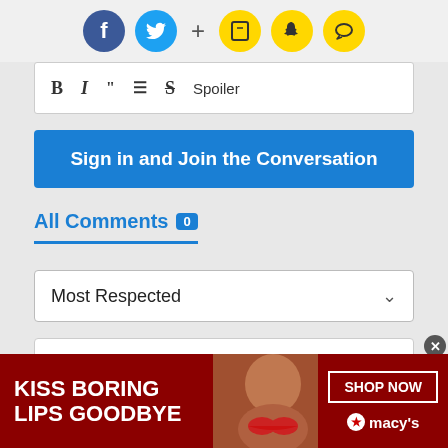[Figure (screenshot): Social sharing icons: Facebook (blue circle), Twitter (cyan circle), plus sign, and three yellow circle icons (bookmark, bell/Snapchat, chat bubble)]
[Figure (screenshot): Text editor toolbar with formatting buttons: B (bold), I (italic), quotation marks, bullet list, strikethrough S, and Spoiler label]
Sign in and Join the Conversation
All Comments 0
Most Respected
There are no comments yet. Why don't you write one?
[Figure (photo): Advertisement banner: red background with text 'KISS BORING LIPS GOODBYE', a woman's face with red lips, 'SHOP NOW' button, and Macy's star logo]